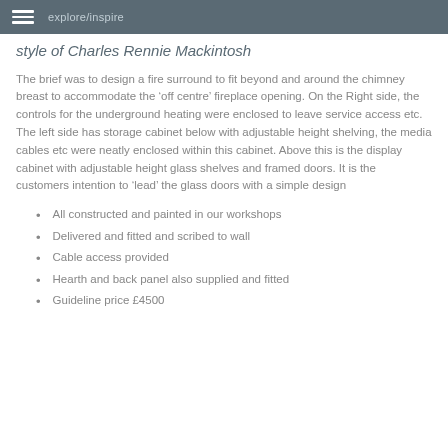explore/inspire
style of Charles Rennie Mackintosh
The brief was to design a fire surround to fit beyond and around the chimney breast to accommodate the ‘off centre’ fireplace opening. On the Right side, the controls for the underground heating were enclosed to leave service access etc. The left side has storage cabinet below with adjustable height shelving, the media cables etc were neatly enclosed within this cabinet. Above this is the display cabinet with adjustable height glass shelves and framed doors. It is the customers intention to ‘lead’ the glass doors with a simple design
All constructed and painted in our workshops
Delivered and fitted and scribed to wall
Cable access provided
Hearth and back panel also supplied and fitted
Guideline price £4500